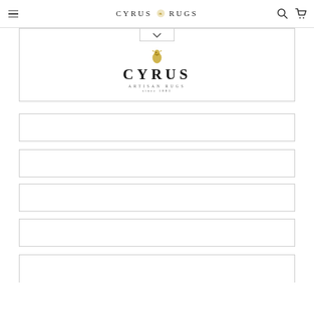CYRUS RUGS - navigation header with hamburger menu, logo, search and cart icons
[Figure (logo): Cyrus Artisan Rugs logo with rooster icon, brand name CYRUS in large letters, ARTISAN RUGS since 1883 text below]
[Figure (screenshot): Empty menu item row 1]
[Figure (screenshot): Empty menu item row 2]
[Figure (screenshot): Empty menu item row 3]
[Figure (screenshot): Empty menu item row 4]
[Figure (screenshot): Empty menu item row 5 (partial)]